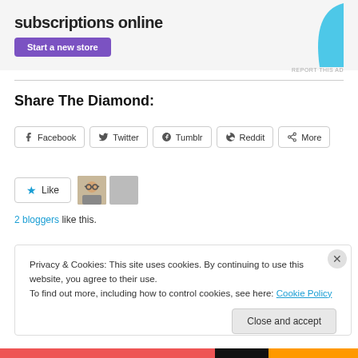[Figure (screenshot): Advertisement banner with purple button 'Start a new store' and blue decorative shape on right, with 'subscriptions online' text partially visible]
Share The Diamond:
Facebook
Twitter
Tumblr
Reddit
More
[Figure (screenshot): Like button with star icon and blogger avatars showing 2 bloggers like this]
2 bloggers like this.
Privacy & Cookies: This site uses cookies. By continuing to use this website, you agree to their use.
To find out more, including how to control cookies, see here: Cookie Policy